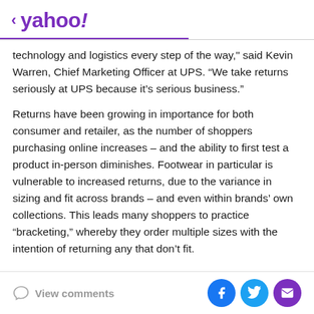< yahoo!
technology and logistics every step of the way," said Kevin Warren, Chief Marketing Officer at UPS. “We take returns seriously at UPS because it’s serious business.”
Returns have been growing in importance for both consumer and retailer, as the number of shoppers purchasing online increases – and the ability to first test a product in-person diminishes. Footwear in particular is vulnerable to increased returns, due to the variance in sizing and fit across brands – and even within brands’ own collections. This leads many shoppers to practice “bracketing,” whereby they order multiple sizes with the intention of returning any that don’t fit.
View comments